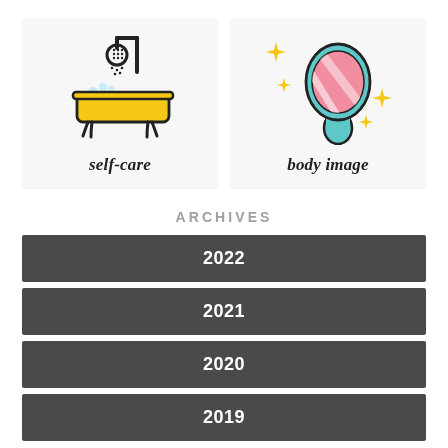[Figure (illustration): Icon of a yellow bathtub with a shower head above it, with blue bubbles on top, on a light gray background. Label below reads 'self-care' in bold italic serif font.]
[Figure (illustration): Icon of a hand mirror with a teal handle and pink striped mirror face, surrounded by four gold sparkle/diamond shapes, on a light gray background. Label below reads 'body image' in bold italic serif font.]
ARCHIVES
2022
2021
2020
2019